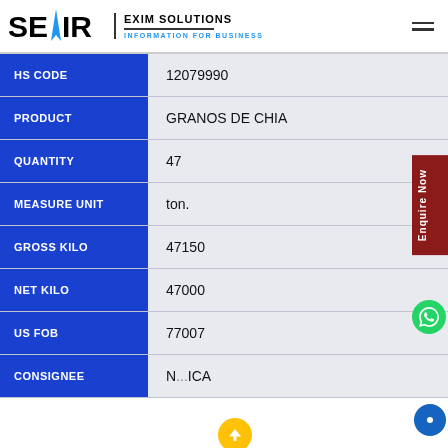[Figure (logo): SEAIR EXIM SOLUTIONS logo with blue arrow/rocket icon and tagline INFORMATION FOR BUSINESS]
| Field | Value |
| --- | --- |
| HS CODE | 12079990 |
| PRODUCT | GRANOS DE CHIA |
| QUANTITY | 47 |
| MEASURE UNIT | ton. |
| GROSS KILO | 47150 |
| NET KILO | 47000 |
| US FOB | 77007 |
| CONSIGNEE | N...ICA |